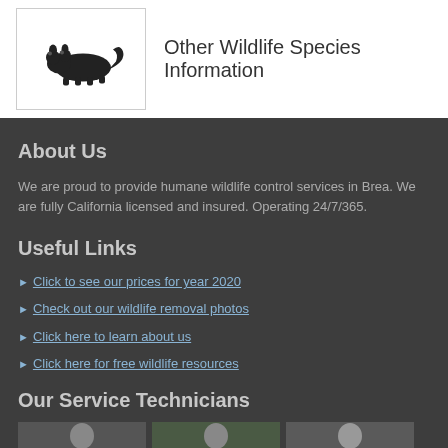[Figure (illustration): Small black illustration of a raccoon or similar wildlife animal inside a white bordered box]
Other Wildlife Species Information
About Us
We are proud to provide humane wildlife control services in Brea. We are fully California licensed and insured. Operating 24/7/365.
Useful Links
Click to see our prices for year 2020
Check out our wildlife removal photos
Click here to learn about us
Click here for free wildlife resources
Our Service Technicians
[Figure (photo): Three small portrait photos of service technicians side by side]